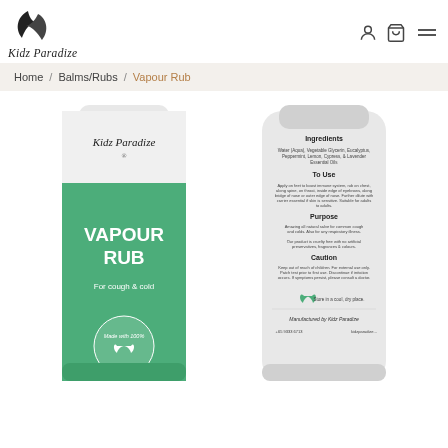[Figure (logo): Kidz Paradize logo with leaf icon and script text]
Home  /  Balms/Rubs  /  Vapour Rub
[Figure (photo): Two Kidz Paradize Vapour Rub tubes: front green tube showing brand name and 'VAPOUR RUB For cough & cold', and back white tube showing Ingredients, To Use, Purpose, Caution sections and 'Manufactured by Kidz Paradize']